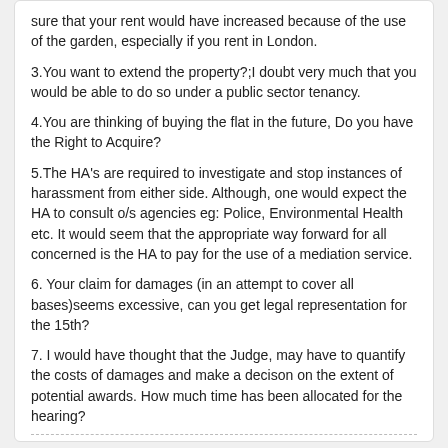sure that your rent would have increased because of the use of the garden, especially if you rent in London.
3.You want to extend the property?;I doubt very much that you would be able to do so under a public sector tenancy.
4.You are thinking of buying the flat in the future, Do you have the Right to Acquire?
5.The HA’s are required to investigate and stop instances of harassment from either side. Although, one would expect the HA to consult o/s agencies eg: Police, Environmental Health etc. It would seem that the appropriate way forward for all concerned is the HA to pay for the use of a mediation service.
6. Your claim for damages (in an attempt to cover all bases)seems excessive, can you get legal representation for the 15th?
7. I would have thought that the Judge, may have to quantify the costs of damages and make a decison on the extent of potential awards. How much time has been allocated for the hearing?
KB1958